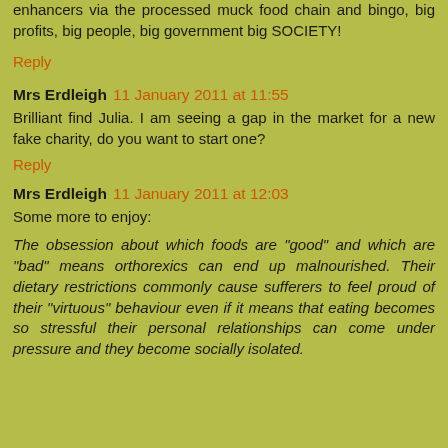enhancers via the processed muck food chain and bingo, big profits, big people, big government big SOCIETY!
Reply
Mrs Erdleigh 11 January 2011 at 11:55
Brilliant find Julia. I am seeing a gap in the market for a new fake charity, do you want to start one?
Reply
Mrs Erdleigh 11 January 2011 at 12:03
Some more to enjoy:
The obsession about which foods are "good" and which are "bad" means orthorexics can end up malnourished. Their dietary restrictions commonly cause sufferers to feel proud of their "virtuous" behaviour even if it means that eating becomes so stressful their personal relationships can come under pressure and they become socially isolated.